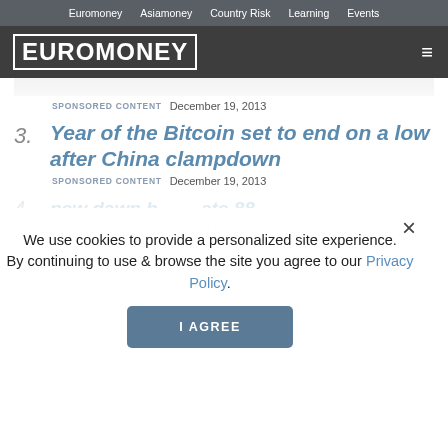Euromoney   Asiamoney   Country Risk   Learning   Events
[Figure (logo): Euromoney logo in white block letters on dark grey background with hamburger menu icon]
SPONSORED CONTENT   December 19, 2013
3. Year of the Bitcoin set to end on a low after China clampdown
SPONSORED CONTENT   December 19, 2013
4. new dawn b... ...ate 88
SPONSORED   December 19, 2013
5. China-Germany economic ties set for rebalancing
SPONSORED CONTENT   December 19, 2013
We use cookies to provide a personalized site experience.
By continuing to use & browse the site you agree to our Privacy Policy.
I AGREE